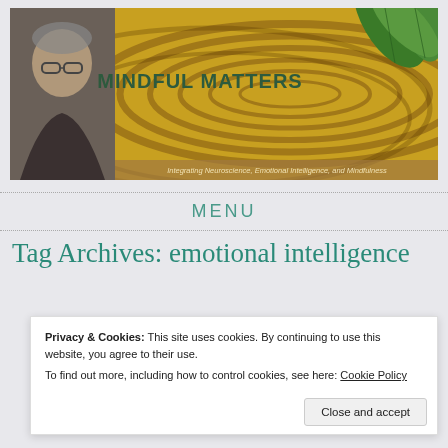[Figure (illustration): Mindful Matters website header banner with swirling golden/brown concentric circle background, portrait photo of middle-aged man with glasses on left, green leaf decoration on right, site title 'MINDFUL MATTERS' in dark green bold text, subtitle 'Integrating Neuroscience, Emotional Intelligence, and Mindfulness']
MENU
Tag Archives: emotional intelligence
Privacy & Cookies: This site uses cookies. By continuing to use this website, you agree to their use.
To find out more, including how to control cookies, see here: Cookie Policy
Close and accept